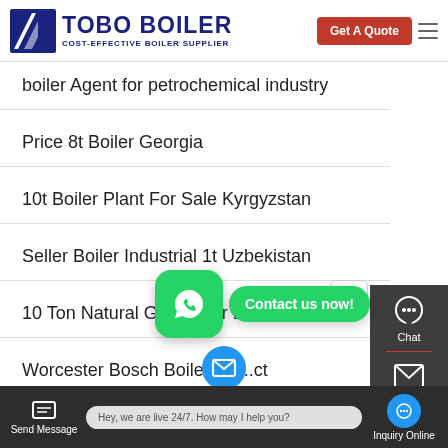TOBO BOILER - COST-EFFECTIVE BOILER SUPPLIER | Get A Quote
boiler Agent for petrochemical industry
Price 8t Boiler Georgia
10t Boiler Plant For Sale Kyrgyzstan
Seller Boiler Industrial 1t Uzbekistan
10 Ton Natural Gas Boiler Brand Latvia
Worcester Bosch Boile... m... ct
Dealer 20 Ton Diesel Boiler Commercial
Send Message | Hey, we are live 24/7. How may I help you? | Inquiry Online